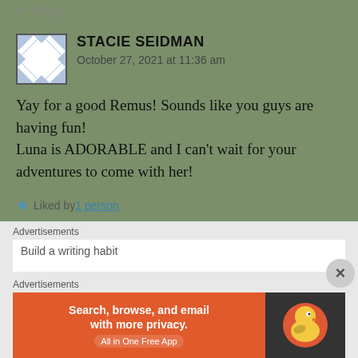↵ Reply
STACIE SEIDMAN
October 27, 2021 at 11:36 am
Yay for a good Remus! Sounds like you guys are having fun!
Luna is ADORABLE and I can't wait for your adventures to come with her!
★ Liked by 1 person
↵ Reply
Advertisements
Build a writing habit
Advertisements
[Figure (other): DuckDuckGo advertisement banner: orange background with text 'Search, browse, and email with more privacy. All in One Free App' and DuckDuckGo logo on dark background]